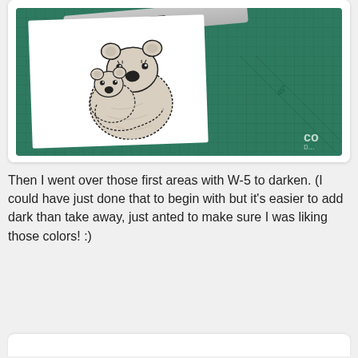[Figure (photo): A photo of a Copic W-5 warm gray marker resting on a green cutting mat, next to a white piece of paper with a hand-drawn illustration of a mother koala hugging a baby koala, colored in warm gray tones.]
Then I went over those first areas with W-5 to darken. (I could have just done that to begin with but it's easier to add dark than take away, just anted to make sure I was liking those colors! :)